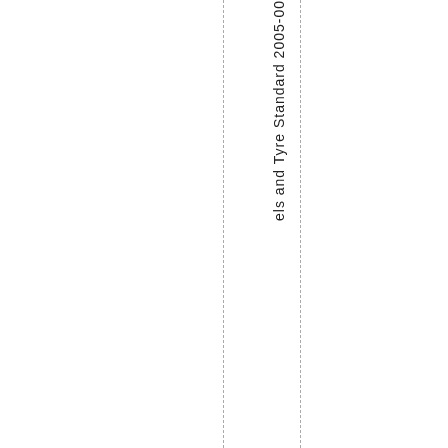els and Tyre Standard 2005-00
[Figure (illustration): Small blue rounded rectangle icon (button/badge)]
Adaptors